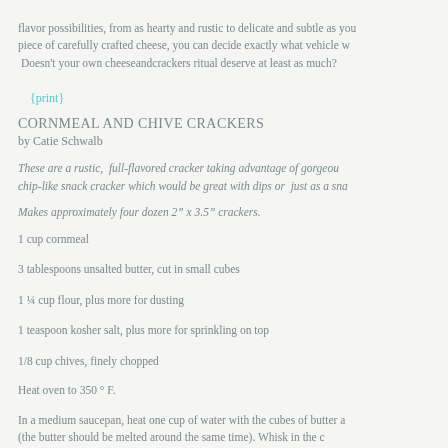flavor possibilities, from as hearty and rustic to delicate and subtle as you piece of carefully crafted cheese, you can decide exactly what vehicle w Doesn't your own cheeseandcrackers ritual deserve at least as much?
{print}
CORNMEAL AND CHIVE CRACKERS
by Catie Schwalb
These are a rustic, full-flavored cracker taking advantage of gorgeou chip-like snack cracker which would be great with dips or just as a sna
Makes approximately four dozen 2” x 3.5” crackers.
1 cup cornmeal
3 tablespoons unsalted butter, cut in small cubes
1 ¼ cup flour, plus more for dusting
1 teaspoon kosher salt, plus more for sprinkling on top
1/8 cup chives, finely chopped
Heat oven to 350 ° F.
In a medium saucepan, heat one cup of water with the cubes of butter a (the butter should be melted around the same time). Whisk in the c stirring frequently. The mixture will be quite thick.
In a mixing bowl, combine cornmeal mixture with flour and chives. M